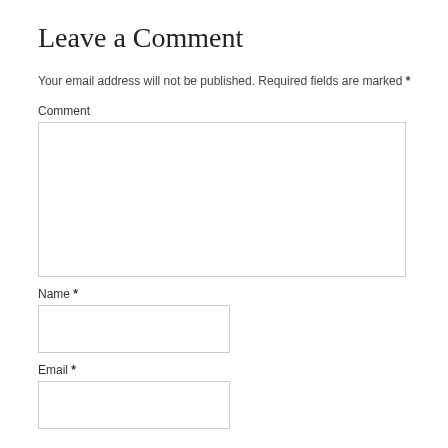Leave a Comment
Your email address will not be published. Required fields are marked *
Comment
Name *
Email *